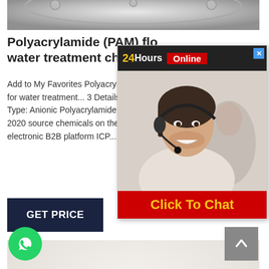[Figure (photo): Top portion of a round metallic/silver product, partially cropped]
Polyacrylamide (PAM) flo water treatment chemic
Add to My Favorites Polyacrylamide (PAM) flocculant for water treatment... 3 Details Po Type: Anionic Polyacrylamide Cat 2020 source chemicals on the mo electronic B2B platform ICP...
[Figure (photo): 24Hours Online chat popup with a customer service representative wearing a headset, with a Click To Chat button]
[Figure (photo): GET PRICE button - dark navy blue button with white text]
[Figure (photo): White powder (Polyacrylamide PAM) shown as a mound on a white background]